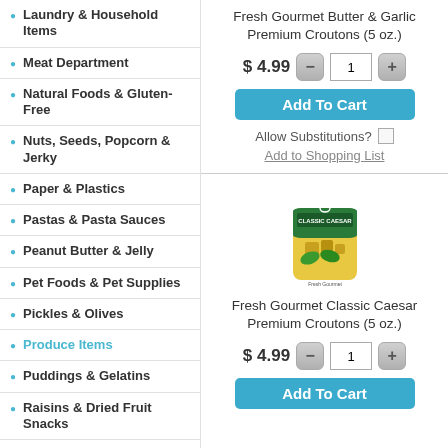Laundry & Household Items
Meat Department
Natural Foods & Gluten-Free
Nuts, Seeds, Popcorn & Jerky
Paper & Plastics
Pastas & Pasta Sauces
Peanut Butter & Jelly
Pet Foods & Pet Supplies
Pickles & Olives
Produce Items
Puddings & Gelatins
Raisins & Dried Fruit Snacks
Salad Dressings & Salad Toppings
Salty Snacks & Dips
Seasonal & Limited Edition Items
Fresh Gourmet Butter & Garlic Premium Croutons (5 oz.)
$ 4.99
Add To Cart
Allow Substitutions?
Add to Shopping List
[Figure (photo): Fresh Gourmet Classic Caesar croutons bag]
Fresh Gourmet Classic Caesar Premium Croutons (5 oz.)
$ 4.99
Add To Cart